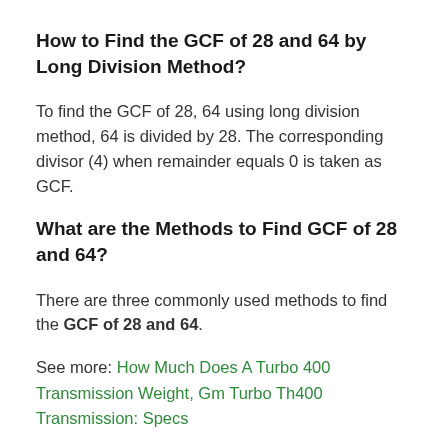How to Find the GCF of 28 and 64 by Long Division Method?
To find the GCF of 28, 64 using long division method, 64 is divided by 28. The corresponding divisor (4) when remainder equals 0 is taken as GCF.
What are the Methods to Find GCF of 28 and 64?
There are three commonly used methods to find the GCF of 28 and 64.
See more: How Much Does A Turbo 400 Transmission Weight, Gm Turbo Th400 Transmission: Specs